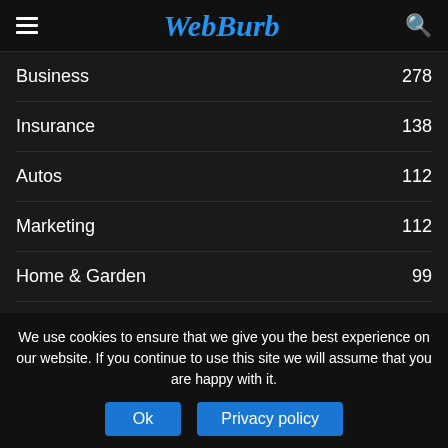WebBurb
Business 278
Insurance 138
Autos 112
Marketing 112
Home & Garden 99
Real Estate 75
Finance 60
Lifestyle 58
Beauty 57
We use cookies to ensure that we give you the best experience on our website. If you continue to use this site we will assume that you are happy with it.